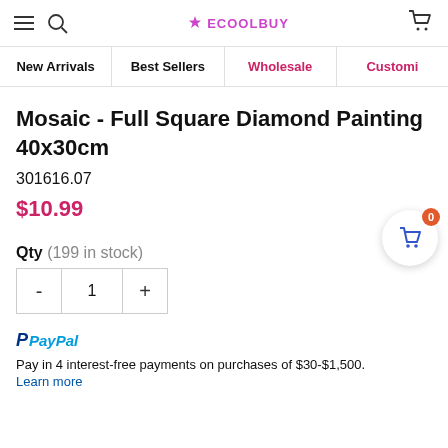ECOOLBUY
New Arrivals | Best Sellers | Wholesale | Customi...
Mosaic - Full Square Diamond Painting 40x30cm
301616.07
$10.99
Qty (199 in stock)
- 1 +
PayPal Pay in 4 interest-free payments on purchases of $30-$1,500. Learn more